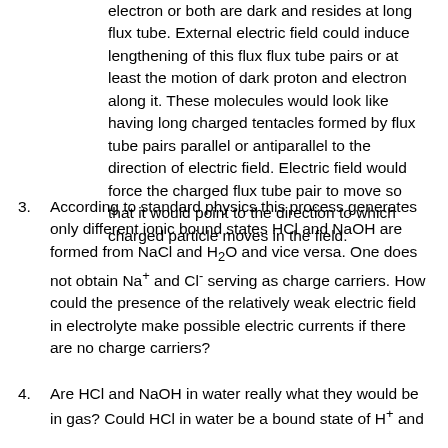electron or both are dark and resides at long flux tube. External electric field could induce lengthening of this flux flux tube pairs or at least the motion of dark proton and electron along it. These molecules would look like having long charged tentacles formed by flux tube pairs parallel or antiparallel to the direction of electric field. Electric field would force the charged flux tube pair to move so that it would point to the direction to which charged particle moves in the field.
3. According to standard physics this process generates only different ionic bound states HCl and NaOH are formed from NaCl and H2O and vice versa. One does not obtain Na+ and Cl- serving as charge carriers. How could the presence of the relatively weak electric field in electrolyte make possible electric currents if there are no charge carriers?
4. Are HCl and NaOH in water really what they would be in gas? Could HCl in water be a bound state of H+ and Cl- and that H+ be a analog of Ion. Could b...